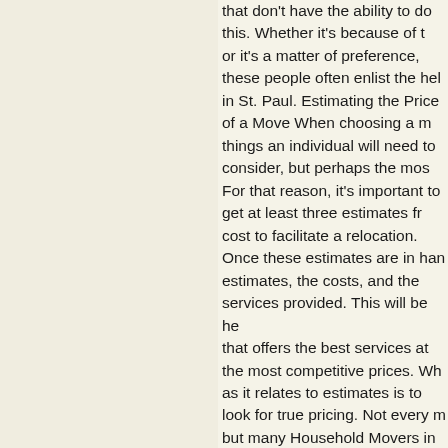that don't have the ability to do this. Whether it's because of the time or it's a matter of preference, these people often enlist the help of movers in St. Paul. Estimating the Price of a Move When choosing a mover, there are things an individual will need to consider, but perhaps the most important is cost. For that reason, it's important to get at least three estimates from movers on the cost to facilitate a relocation. Once these estimates are in hand, compare the estimates, the costs, and the services provided. This will be helpful in finding one that offers the best services at the most competitive prices. What to keep in mind as it relates to estimates is to look for true pricing. Not every mover offers this, but many Household Movers in St. Paul are moving to this type of pricing where an estimate represents the entire costs of the moving service without the possibility of additions. Avoid Excessive Add On Charges Often, there have been people who chose a particular moving service based on an estimate, and after the service completed the move, a person received a bill for a much higher amount than previously estimated. These add-on fees can easily make the move more expensive than an individual or family can afford. With true pricing, the shock of receiving the final bill is completely eliminated. While there are many things to consider when choosing a mover in St. Paul, these few tips really go a long way when an individual or family needs to choose the right mover. Whether across town or across the state, choosing the right moving service, like, is essential if you're not going to be facilitating the move on your